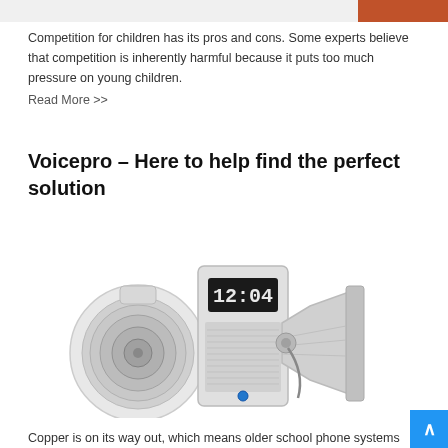[Figure (photo): Partial top strip showing an image with an orange/brown section on the right side]
Competition for children has its pros and cons. Some experts believe that competition is inherently harmful because it puts too much pressure on young children.
Read More >>
Voicepro – Here to help find the perfect solution
[Figure (photo): Product image showing audio/PA system components: a ceiling speaker, a wall-mounted clock/intercom unit showing 12:04, and a horn loudspeaker]
Copper is on its way out, which means older school phone systems